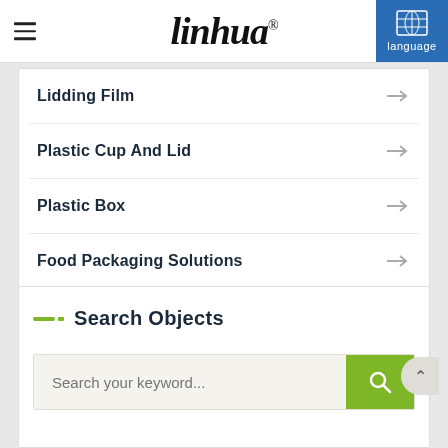linhua language
Lidding Film
Plastic Cup And Lid
Plastic Box
Food Packaging Solutions
Search Objects
Search your keyword...